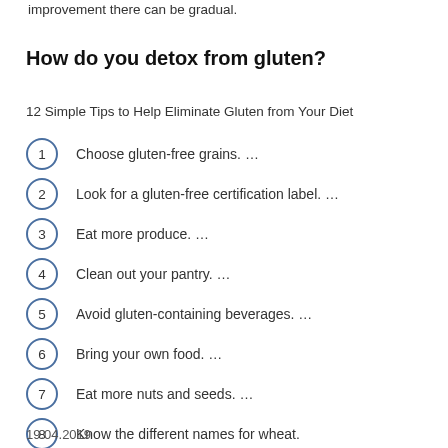improvement there can be gradual.
How do you detox from gluten?
12 Simple Tips to Help Eliminate Gluten from Your Diet
Choose gluten-free grains. …
Look for a gluten-free certification label. …
Eat more produce. …
Clean out your pantry. …
Avoid gluten-containing beverages. …
Bring your own food. …
Eat more nuts and seeds. …
Know the different names for wheat.
19.04.2019